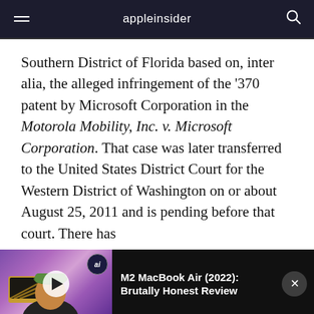appleinsider
Southern District of Florida based on, inter alia, the alleged infringement of the '370 patent by Microsoft Corporation in the Motorola Mobility, Inc. v. Microsoft Corporation. That case was later transferred to the United States District Court for the Western District of Washington on or about August 25, 2011 and is pending before that court. There has
[Figure (screenshot): Video player bar showing M2 MacBook Air (2022): Brutally Honest Review with thumbnail of man holding laptop, play button, ai badge, and close button]